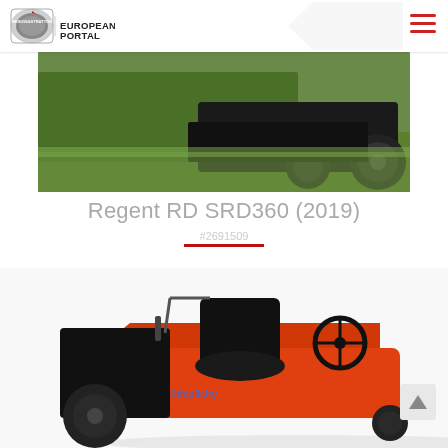BRIGGS & STRATTON EUROPEAN MARKETING PORTAL
[Figure (photo): Outdoor photo of a ride-on lawn mower partially visible on grass with green hedges in background]
Regent RD SRD360 (2019)
#2691509
[Figure (photo): Orange and black ride-on lawn mower with black seat and steering wheel, Simplicity branding visible]